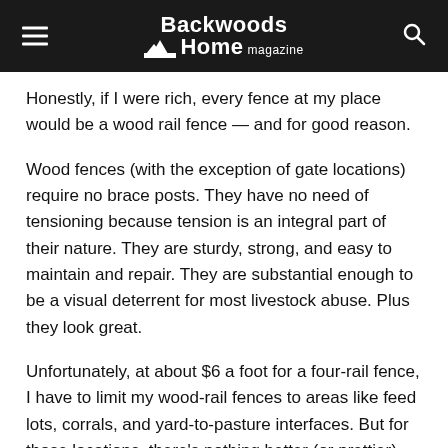Backwoods Home magazine
Honestly, if I were rich, every fence at my place would be a wood rail fence — and for good reason.
Wood fences (with the exception of gate locations) require no brace posts. They have no need of tensioning because tension is an integral part of their nature. They are sturdy, strong, and easy to maintain and repair. They are substantial enough to be a visual deterrent for most livestock abuse. Plus they look great.
Unfortunately, at about $6 a foot for a four-rail fence, I have to limit my wood-rail fences to areas like feed lots, corrals, and yard-to-pasture interfaces. But for those locations, there's nothing better (or prettier).